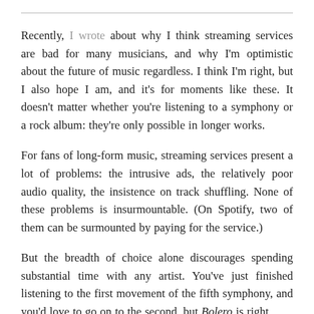Recently, I wrote about why I think streaming services are bad for many musicians, and why I'm optimistic about the future of music regardless. I think I'm right, but I also hope I am, and it's for moments like these. It doesn't matter whether you're listening to a symphony or a rock album: they're only possible in longer works.
For fans of long-form music, streaming services present a lot of problems: the intrusive ads, the relatively poor audio quality, the insistence on track shuffling. None of these problems is insurmountable. (On Spotify, two of them can be surmounted by paying for the service.)
But the breadth of choice alone discourages spending substantial time with any artist. You've just finished listening to the first movement of the fifth symphony, and you'd love to go on to the second, but Bolero is right